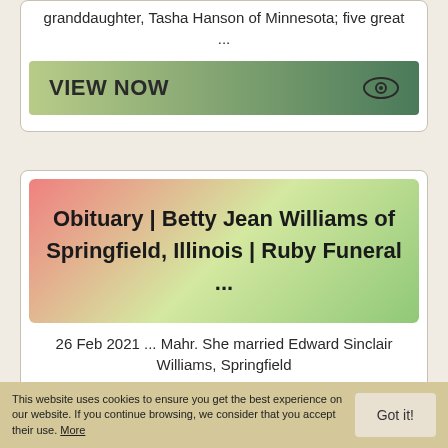granddaughter, Tasha Hanson of Minnesota; five great ...
[Figure (other): Green gradient VIEW NOW button with eye icon]
Obituary | Betty Jean Williams of Springfield, Illinois | Ruby Funeral ...
26 Feb 2021 ... Mahr. She married Edward Sinclair Williams, Springfield
This website uses cookies to ensure you get the best experience on our website. If you continue browsing, we consider that you accept their use. More
Got it!